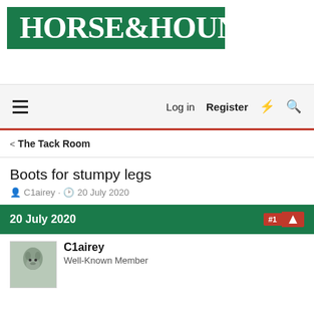[Figure (logo): Horse & Hound logo — white serif text on dark green background]
Log in  Register  ☇  🔍
< The Tack Room
Boots for stumpy legs
C1airey · 20 July 2020
20 July 2020  #1
C1airey
Well-Known Member